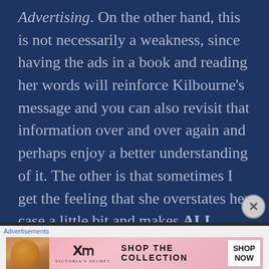Advertising. On the other hand, this is not necessarily a weakness, since having the ads in a book and reading her words will reinforce Kilbourne's message and you can also revisit that information over and over again and perhaps enjoy a better understanding of it. The other is that sometimes I get the feeling that she overstates her case a little bit and makes ALL advertisers out to be villains. Yes, some of their messages are dangerous and demeaning, but I don't believe that
Advertisements
[Figure (screenshot): Victoria's Secret advertisement banner showing a model on the left, the Victoria's Secret logo in the center-left, 'SHOP THE COLLECTION' text in the center, and a white 'SHOP NOW' button on the right, on a pink gradient background.]